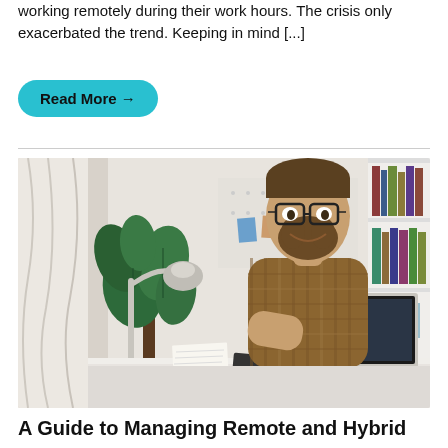working remotely during their work hours. The crisis only exacerbated the trend. Keeping in mind [...]
Read More →
[Figure (photo): A man with glasses and a beard wearing a plaid shirt, sitting at a white desk working on a MacBook laptop, with a desk lamp, large plant, notebooks, and a bookshelf visible in the background. A home office setting.]
A Guide to Managing Remote and Hybrid